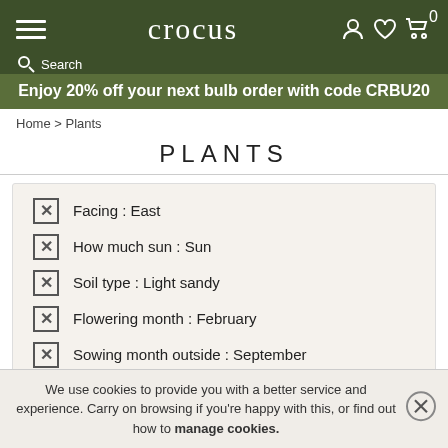crocus — Search — Enjoy 20% off your next bulb order with code CRBU20
Home > Plants
PLANTS
Facing : East
How much sun : Sun
Soil type : Light sandy
Flowering month : February
Sowing month outside : September
Sowing month inside or protected : April
Flower colour : Purple
We use cookies to provide you with a better service and experience. Carry on browsing if you're happy with this, or find out how to manage cookies.